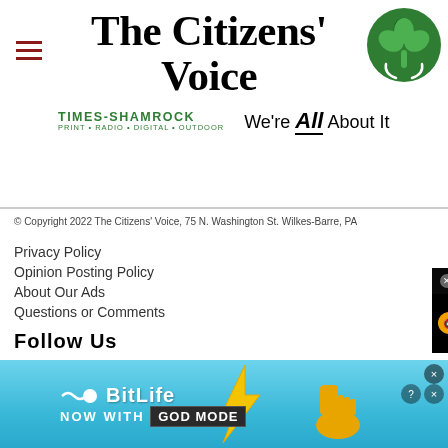The Citizens' Voice
TIMES-SHAMROCK • PRINT • RADIO • DIGITAL • OUTDOOR — We're All About It
© Copyright 2022 The Citizens' Voice, 75 N. Washington St. Wilkes-Barre, PA
Privacy Policy
Opinion Posting Policy
About Our Ads
Questions or Comments
FOLLOW US
[Figure (infographic): Social media icons: Facebook, Twitter, YouTube, Instagram]
[Figure (screenshot): Video popup showing Cate Blanchett s Black Jumpsuit Was Lite... with close button, mute button, and photo of woman with flowers]
[Figure (infographic): BitLife advertisement banner: NOW WITH GOD MODE with decorative elements on blue/cyan background]